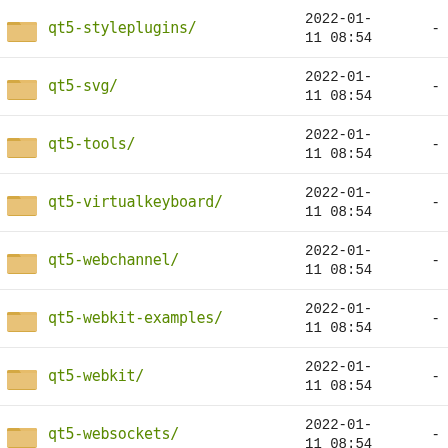qt5-styleplugins/ 2022-01-11 08:54 -
qt5-svg/ 2022-01-11 08:54 -
qt5-tools/ 2022-01-11 08:54 -
qt5-virtualkeyboard/ 2022-01-11 08:54 -
qt5-webchannel/ 2022-01-11 08:54 -
qt5-webkit-examples/ 2022-01-11 08:54 -
qt5-webkit/ 2022-01-11 08:54 -
qt5-websockets/ 2022-01-11 08:54 -
qt5-x11extras/ 2022-01-11 08:54 -
qt5-xmlpatterns/ 2022-01-11 08:54 -
qt5ct/ 2022-01-11 08:54 -
qterminal/ 2022-01-11 08:54 -
qtermwidget/ 2022-01-11 08:54 -
quadrapassel/ 2022-01-11 08:54 -
... 2020-05-...